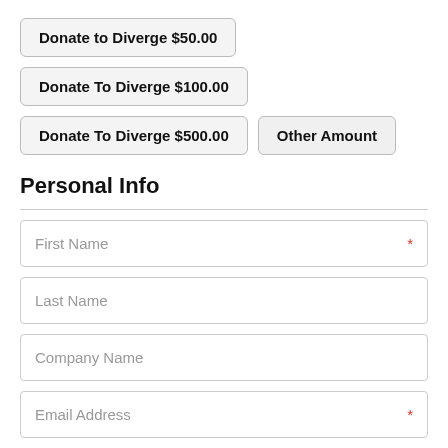Donate to Diverge $50.00
Donate To Diverge $100.00
Donate To Diverge $500.00
Other Amount
Personal Info
First Name *
Last Name
Company Name
Email Address *